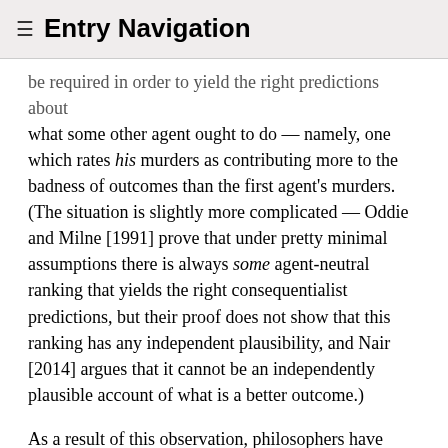≡ Entry Navigation
be required in order to yield the right predictions about what some other agent ought to do — namely, one which rates his murders as contributing more to the badness of outcomes than the first agent's murders. (The situation is slightly more complicated — Oddie and Milne [1991] prove that under pretty minimal assumptions there is always some agent-neutral ranking that yields the right consequentialist predictions, but their proof does not show that this ranking has any independent plausibility, and Nair [2014] argues that it cannot be an independently plausible account of what is a better outcome.)
As a result of this observation, philosophers have postulated a thing called agent-relative value. The idea of agent-relative value is that if the better than relation is relativized to agents, then outcomes in which Franz murders can be worse-relative-to Franz than outcomes in which Jens murders, even though outcomes in which Jens murders are worse-relative-to Jens than outcomes in which Franz murders. These contrasting rankings of these two kinds of outcomes are not incompatible, because each